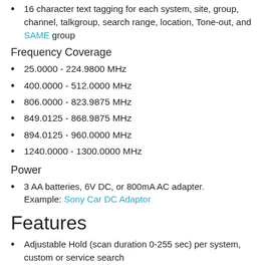16 character text tagging for each system, site, group, channel, talkgroup, search range, location, Tone-out, and SAME group
Frequency Coverage
25.0000 - 224.9800 MHz
400.0000 - 512.0000 MHz
806.0000 - 823.9875 MHz
849.0125 - 868.9875 MHz
894.0125 - 960.0000 MHz
1240.0000 - 1300.0000 MHz
Power
3 AA batteries, 6V DC, or 800mA AC adapter. Example: Sony Car DC Adaptor
Features
Adjustable Hold (scan duration 0-255 sec) per system, custom or service search